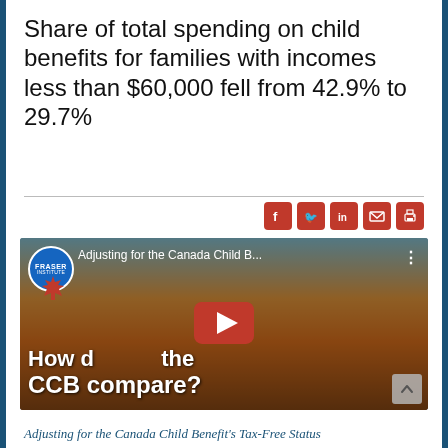Share of total spending on child benefits for families with incomes less than $60,000 fell from 42.9% to 29.7%
[Figure (screenshot): YouTube video thumbnail showing a Fraser Institute video titled 'Adjusting for the Canada Child B...' with text 'How does the CCB compare?' overlaid on a sunset beach family silhouette background. A YouTube play button is visible in the center.]
Adjusting for the Canada Child Benefit's Tax-Free Status